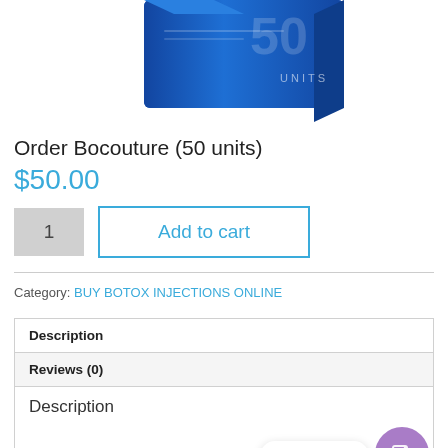[Figure (photo): Blue box of Bocouture 50 units product, partially cropped at top]
Order Bocouture (50 units)
$50.00
1  Add to cart
Category: BUY BOTOX INJECTIONS ONLINE
| Description |
| Reviews (0) |
| Description |
Chat with us